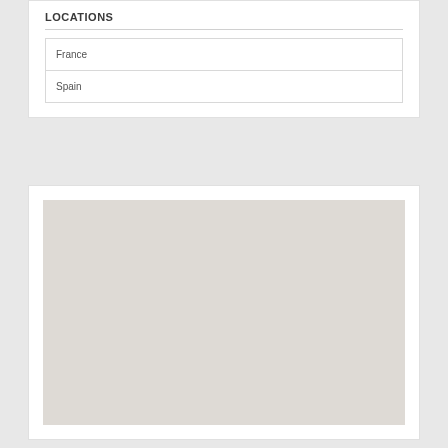LOCATIONS
France
Spain
[Figure (map): A blank/placeholder map tile rendered in light gray, showing no visible geographic features or labels — likely a loading placeholder for a web map component.]